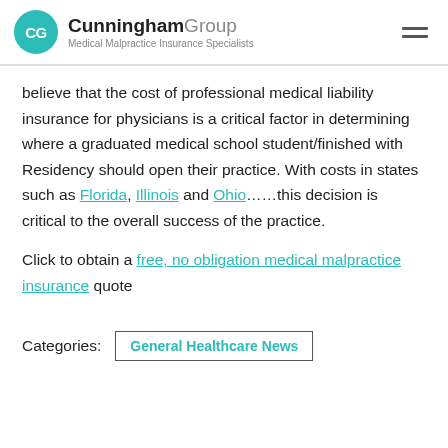CG Cunningham Group Medical Malpractice Insurance Specialists
believe that the cost of professional medical liability insurance for physicians is a critical factor in determining where a graduated medical school student/finished with Residency should open their practice. With costs in states such as Florida, Illinois and Ohio……this decision is critical to the overall success of the practice.

Click to obtain a free, no obligation medical malpractice insurance quote
Categories: General Healthcare News